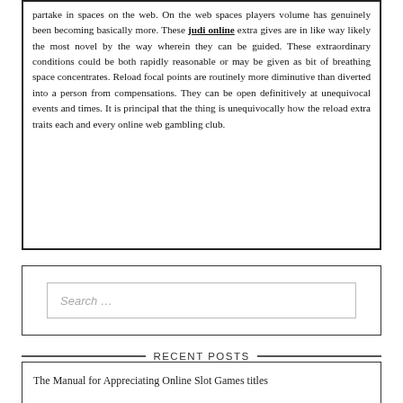partake in spaces on the web. On the web spaces players volume has genuinely been becoming basically more. These judi online extra gives are in like way likely the most novel by the way wherein they can be guided. These extraordinary conditions could be both rapidly reasonable or may be given as bit of breathing space concentrates. Reload focal points are routinely more diminutive than diverted into a person from compensations. They can be open definitively at unequivocal events and times. It is principal that the thing is unequivocally how the reload extra traits each and every online web gambling club.
Search ...
RECENT POSTS
The Manual for Appreciating Online Slot Games titles